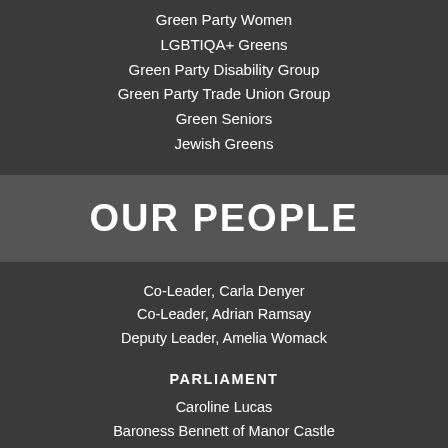Green Party Women
LGBTIQA+ Greens
Green Party Disability Group
Green Party Trade Union Group
Green Seniors
Jewish Greens
OUR PEOPLE
Co-Leader, Carla Denyer
Co-Leader, Adrian Ramsay
Deputy Leader, Amelia Womack
PARLIAMENT
Caroline Lucas
Baroness Bennett of Manor Castle
Baroness Jones of Moulsecoomb
LONDON ASSEMBLY
Siân Berry AM
Caroline Russell AM
Zack Polanski AM